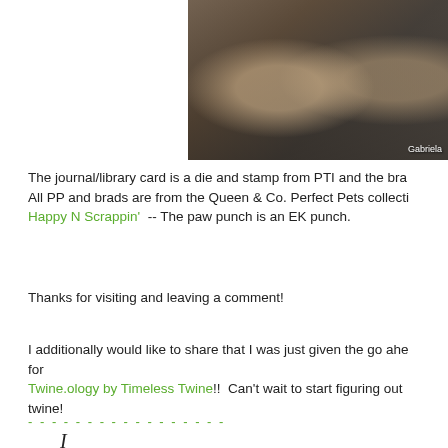[Figure (photo): Two smiling women outdoors under a wooden pergola/roof structure. Label 'Gabriela' visible in bottom right.]
The journal/library card is a die and stamp from PTI and the bra... All PP and brads are from the Queen & Co. Perfect Pets collecti... Happy N Scrappin'  -- The paw punch is an EK punch.
Thanks for visiting and leaving a comment!
I additionally would like to share that I was just given the go ahe... for Twine.ology by Timeless Twine!!  Can't wait to start figuring out ... twine!
- - - - - - - - - - - - - - - - -
I